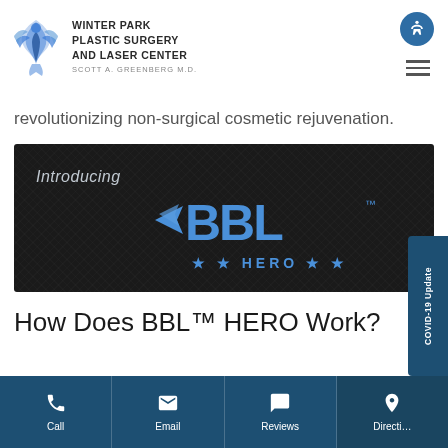[Figure (logo): Winter Park Plastic Surgery and Laser Center logo with phoenix bird and text, Scott A. Greenberg M.D.]
revolutionizing non-surgical cosmetic rejuvenation.
[Figure (illustration): Introducing BBL HERO — dark textured background with blue BBL HERO logo featuring wing graphic and stars]
How Does BBL™ HERO Work?
Call  Email  Reviews  Directions